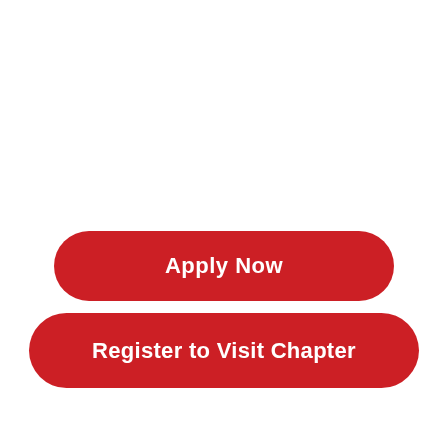[Figure (other): Red rounded-rectangle button labeled 'Apply Now' in white bold text]
[Figure (other): Red rounded-rectangle button labeled 'Register to Visit Chapter' in white bold text]